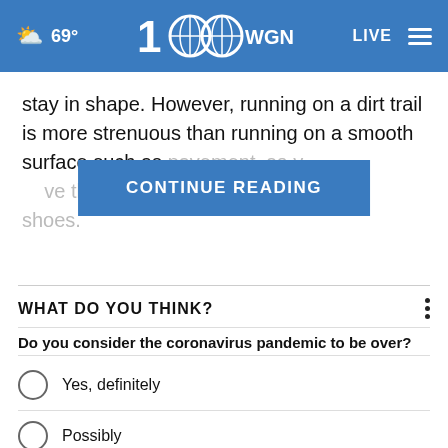69° WGN Radio LIVE
stay in shape. However, running on a dirt trail is more strenuous than running on a smooth surface such as pavement, so you need to have the right shoes.
CONTINUE READING
WHAT DO YOU THINK?
Do you consider the coronavirus pandemic to be over?
Yes, definitely
Possibly
No, definitely not
Other / No opinion